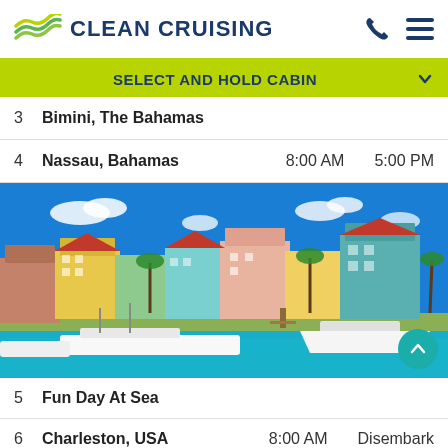CLEAN CRUISING
SELECT AND HOLD CABIN
3   Bimini, The Bahamas
4   Nassau, Bahamas   8:00 AM   5:00 PM
[Figure (photo): Colorful waterfront buildings in Nassau, Bahamas with boats docked in turquoise water under a bright blue sky]
5   Fun Day At Sea
6   Charleston, USA   8:00 AM   Disembark